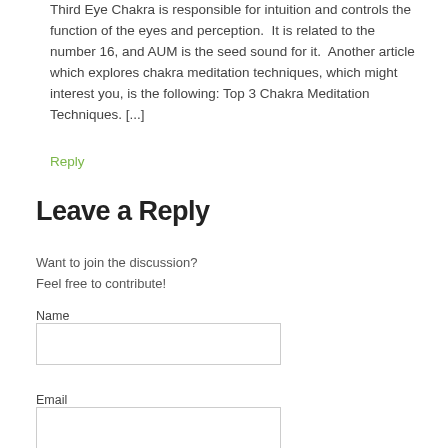Third Eye Chakra is responsible for intuition and controls the function of the eyes and perception.  It is related to the number 16, and AUM is the seed sound for it.  Another article which explores chakra meditation techniques, which might interest you, is the following: Top 3 Chakra Meditation Techniques. [...]
Reply
Leave a Reply
Want to join the discussion?
Feel free to contribute!
Name
Email